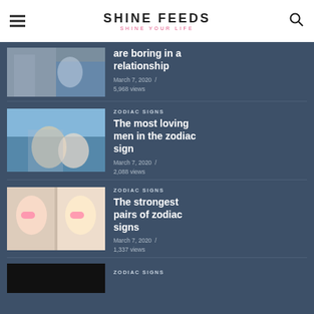SHINE FEEDS — SHINE YOUR LIFE
are boring in a relationship
March 7, 2020 / 5,968 views
ZODIAC SIGNS
The most loving men in the zodiac sign
March 7, 2020 / 2,088 views
ZODIAC SIGNS
The strongest pairs of zodiac signs
March 7, 2020 / 1,337 views
ZODIAC SIGNS